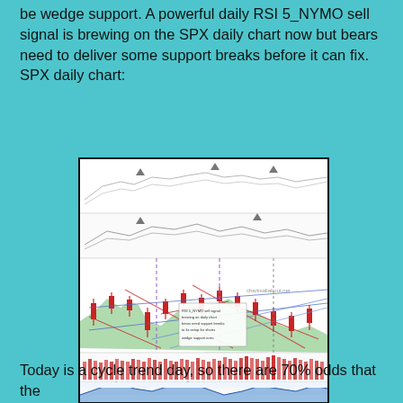be wedge support. A powerful daily RSI 5_NYMO sell signal is brewing on the SPX daily chart now but bears need to deliver some support breaks before it can fix. SPX daily chart:
[Figure (continuous-plot): SPX daily chart showing price candlesticks with green area fill, multiple overlaid trend lines in red and blue, RSI/NYMO indicator panels at top and bottom, bar chart volume in red/pink bars at bottom middle section.]
Today is a cycle trend day, so there are 70% odds that the